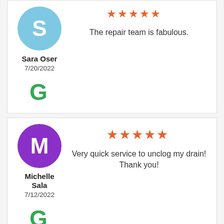[Figure (other): Review card for Sara Oser: avatar circle with 'S' in light blue, 5-star rating (partially visible at top), review text 'The repair team is fabulous.', date 7/20/2022, Google G logo]
[Figure (other): Review card for Michelle Sala: avatar circle with 'M' in purple, 5-star rating, review text 'Very quick service to unclog my drain! Thank you!', date 7/12/2022, Google G logo]